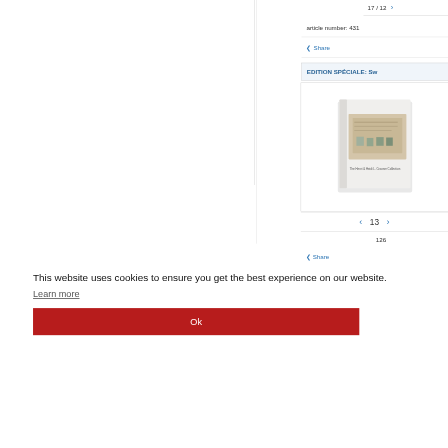17 12
article number: 431
Share
EDITION SPÉCIALE: Sw
[Figure (photo): Book/catalogue cover image showing 'The Henri & Heidi L. Crooner Collection' or similar auction catalogue]
13
126
Share
This website uses cookies to ensure you get the best experience on our website.
Learn more
Ok